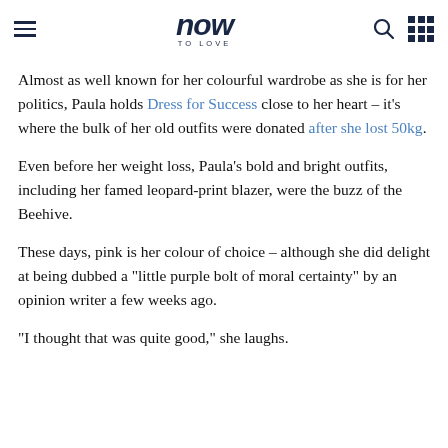now TO LOVE
Almost as well known for her colourful wardrobe as she is for her politics, Paula holds Dress for Success close to her heart – it's where the bulk of her old outfits were donated after she lost 50kg.
Even before her weight loss, Paula's bold and bright outfits, including her famed leopard-print blazer, were the buzz of the Beehive.
These days, pink is her colour of choice – although she did delight at being dubbed a "little purple bolt of moral certainty" by an opinion writer a few weeks ago.
"I thought that was quite good," she laughs.